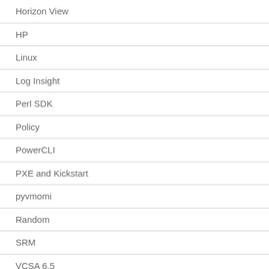Horizon View
HP
Linux
Log Insight
Perl SDK
Policy
PowerCLI
PXE and Kickstart
pyvmomi
Random
SRM
VCSA 6.5
vExpert
VMware